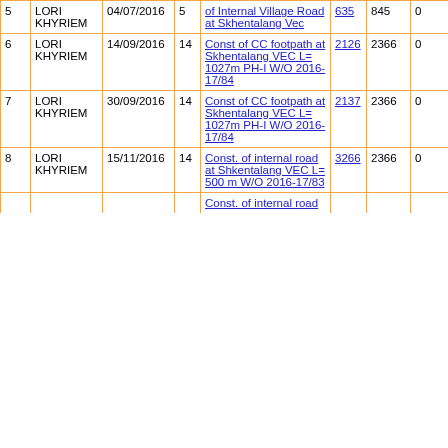| # | Village | Date | Ward | Work | Amount | Sanctioned | Balance |
| --- | --- | --- | --- | --- | --- | --- | --- |
| 5 | LORI KHYRIEM | 04/07/2016 | 5 | of Internal Village Road at Skhentalang Vec | 635 | 845 | 0 |
| 6 | LORI KHYRIEM | 14/09/2016 | 14 | Const of CC footpath at Skhentalang VEC L= 1027m PH-I W/O 2016-17/84 | 2126 | 2366 | 0 |
| 7 | LORI KHYRIEM | 30/09/2016 | 14 | Const of CC footpath at Skhentalang VEC L= 1027m PH-I W/O 2016-17/84 | 2137 | 2366 | 0 |
| 8 | LORI KHYRIEM | 15/11/2016 | 14 | Const. of internal road at Shkentalang VEC L= 500 m W/O 2016-17/83 | 3266 | 2366 | 0 |
| 9 |  |  |  | Const. of internal road |  |  |  |